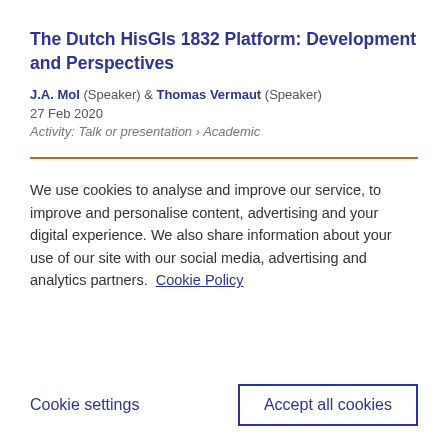The Dutch HisGIs 1832 Platform: Development and Perspectives
J.A. Mol (Speaker) & Thomas Vermaut (Speaker)
27 Feb 2020
Activity: Talk or presentation › Academic
We use cookies to analyse and improve our service, to improve and personalise content, advertising and your digital experience. We also share information about your use of our site with our social media, advertising and analytics partners.  Cookie Policy
Cookie settings
Accept all cookies